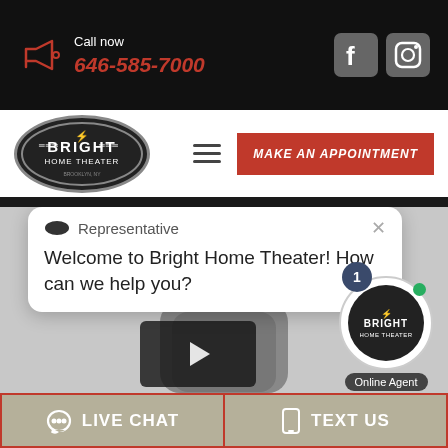Call now 646-585-7000
[Figure (logo): Bright Home Theater oval logo in black with white text]
MAKE AN APPOINTMENT
[Figure (screenshot): Chat widget popup from Representative saying: Welcome to Bright Home Theater! How can we help you?]
[Figure (photo): Video thumbnail of a man in a grey sweater with a play button overlay]
Online Agent
LIVE CHAT
TEXT US